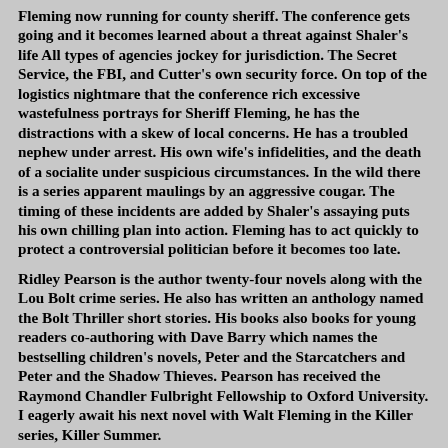Fleming now running for county sheriff. The conference gets going and it becomes learned about a threat against Shaler's life All types of agencies jockey for jurisdiction. The Secret Service, the FBI, and Cutter's own security force. On top of the logistics nightmare that the conference rich excessive wastefulness portrays for Sheriff Fleming, he has the distractions with a skew of local concerns. He has a troubled nephew under arrest. His own wife's infidelities, and the death of a socialite under suspicious circumstances. In the wild there is a series apparent maulings by an aggressive cougar. The timing of these incidents are added by Shaler's assaying puts his own chilling plan into action. Fleming has to act quickly to protect a controversial politician before it becomes too late.
Ridley Pearson is the author twenty-four novels along with the Lou Bolt crime series. He also has written an anthology named the Bolt Thriller short stories. His books also books for young readers co-authoring with Dave Barry which names the bestselling children's novels, Peter and the Starcatchers and Peter and the Shadow Thieves. Pearson has received the Raymond Chandler Fulbright Fellowship to Oxford University. I eagerly await his next novel with Walt Fleming in the Killer series, Killer Summer.
Frankenstein Dead and Alive: Book Three